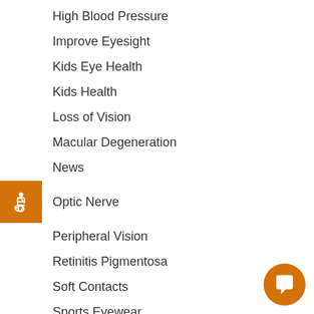High Blood Pressure
Improve Eyesight
Kids Eye Health
Kids Health
Loss of Vision
Macular Degeneration
News
Optic Nerve
Peripheral Vision
Retinitis Pigmentosa
Soft Contacts
Sports Eyewear
Stroke Affects
Styled By
Summer Eye Protection